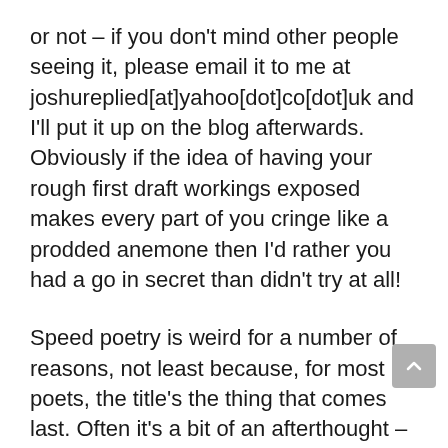or not – if you don't mind other people seeing it, please email it to me at joshureplied[at]yahoo[dot]co[dot]uk and I'll put it up on the blog afterwards. Obviously if the idea of having your rough first draft workings exposed makes every part of you cringe like a prodded anemone then I'd rather you had a go in secret than didn't try at all!
Speed poetry is weird for a number of reasons, not least because, for most poets, the title's the thing that comes last. Often it's a bit of an afterthought – something unobtrusive, like a single word, or the first line repeated. A lot of the time now, when I'm onstage I don't give my performance poems titles at all.